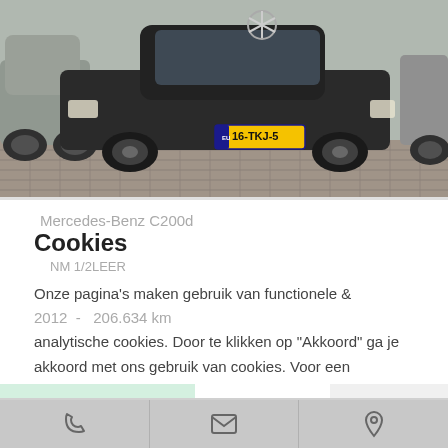[Figure (photo): Photo of dark colored Mercedes-Benz C200d car with Dutch license plate 16-TKJ-5, parked on cobblestone surface with other cars visible.]
Mercedes-Benz C200d
Cookies
NM 1/2LEER
Onze pagina's maken gebruik van functionele & analytische cookies. Door te klikken op "Akkoord" ga je akkoord met ons gebruik van cookies. Voor een uitgebreide uitleg klik op:  Lees meer
2012  -  206.634 km
AKKOORD